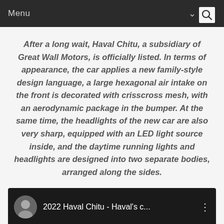Menu
After a long wait, Haval Chitu, a subsidiary of Great Wall Motors, is officially listed. In terms of appearance, the car applies a new family-style design language, a large hexagonal air intake on the front is decorated with crisscross mesh, with an aerodynamic package in the bumper. At the same time, the headlights of the new car are also very sharp, equipped with an LED light source inside, and the daytime running lights and headlights are designed into two separate bodies, arranged along the sides.
[Figure (screenshot): Video thumbnail showing a woman avatar and title '2022 Haval Chitu - Haval's c...' on a dark background]